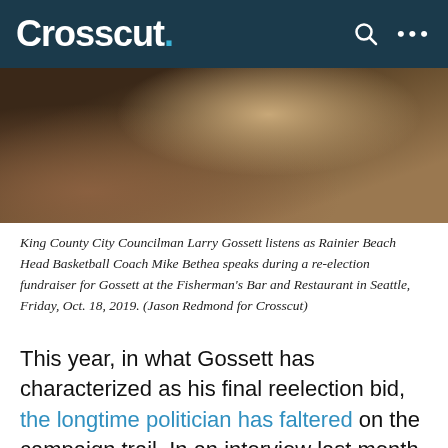Crosscut.
[Figure (photo): Photograph showing a person seated, legs crossed, wearing dark pants and a white jacket, with wooden stools visible in the background at what appears to be a bar or restaurant setting.]
King County City Councilman Larry Gossett listens as Rainier Beach Head Basketball Coach Mike Bethea speaks during a re-election fundraiser for Gossett at the Fisherman's Bar and Restaurant in Seattle, Friday, Oct. 18, 2019. (Jason Redmond for Crosscut)
This year, in what Gossett has characterized as his final reelection bid, the longtime politician has faltered on the campaign trail. In an interview last month, Gossett said it took the jolt of his being trounced in the primary for him to embrace social media